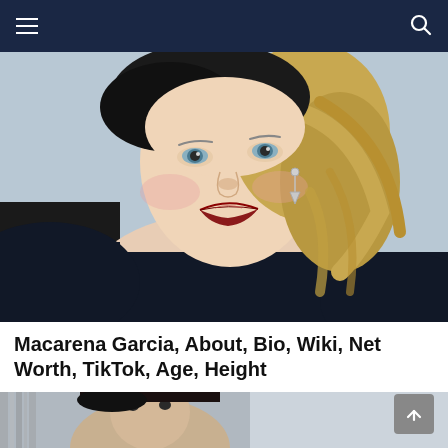Navigation bar with menu and search icons
[Figure (photo): Close-up portrait of Macarena Garcia, a young woman with blonde hair, green eyes, red lipstick, wearing a black off-shoulder top with a pearl necklace and dangling star earrings, posed against a light blue background.]
Macarena Garcia, About, Bio, Wiki, Net Worth, TikTok, Age, Height
20.8k Shares
by VideoFeed TV about a year ago
[Figure (photo): Partial bottom photo showing a woman with dark hair and dark eyes, cropped at the bottom of the page.]